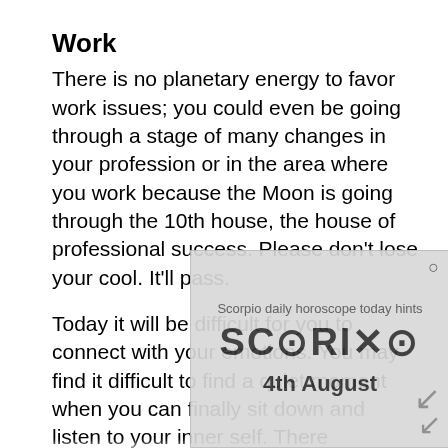Work
There is no planetary energy to favor work issues; you could even be going through a stage of many changes in your profession or in the area where you work because the Moon is going through the 10th house, the house of professional success. Please don’t lose your cool. It’ll pass.
Today it will be difficult for you to connect with your emotions. You may find it difficult to find a quiet moment when you can finally sit down and listen to your inner self. There
[Figure (other): Advertisement overlay showing a Scorpio daily horoscope ad with text 'SCORIXO' and '4th August' with a watermark and close button]